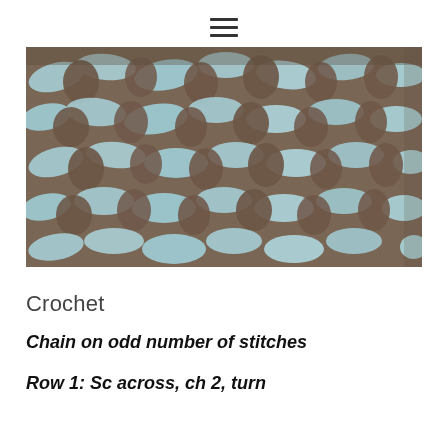≡
[Figure (photo): Close-up photograph of light blue crochet stitches on a brown/tan background, showing a textured mesh-like stitch pattern]
Crochet
Chain on odd number of stitches
Row 1: Sc across, ch 2, turn